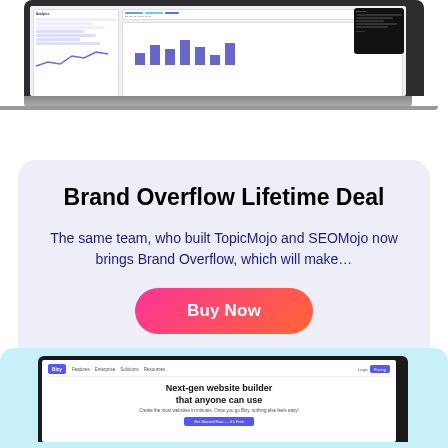[Figure (screenshot): Screenshot of a laptop showing a dashboard analytics interface with charts and data tables]
Brand Overflow Lifetime Deal
The same team, who built TopicMojo and SEOMojo now brings Brand Overflow, which will make…
Buy Now
[Figure (screenshot): Screenshot of a laptop showing a website builder interface with text: Next-gen website builder that anyone can use]